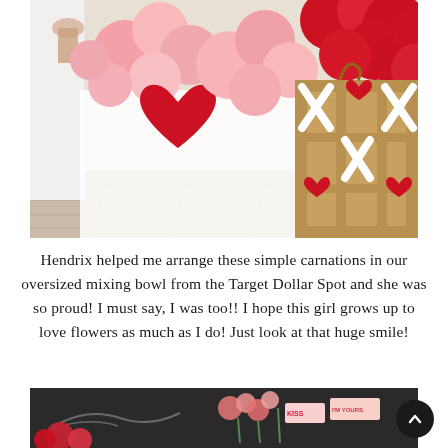[Figure (photo): Valentine's Day decoration scene with pink and red heart-shaped balloons, a balloon garland on the wall, and a wooden tic-tac-toe frame with red foam hearts and white X's on a white surface.]
Hendrix helped me arrange these simple carnations in our oversized mixing bowl from the Target Dollar Spot and she was so proud! I must say, I was too!! I hope this girl grows up to love flowers as much as I do! Just look at that huge smile!
[Figure (photo): Partial view of a Valentine's Day party table with a dark chalkboard background, pink and red flower decorations, and small signs reading 'KISS' and other Valentine's phrases.]